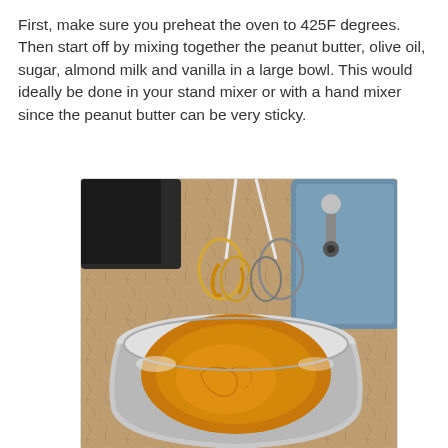First, make sure you preheat the oven to 425F degrees. Then start off by mixing together the peanut butter, olive oil, sugar, almond milk and vanilla in a large bowl. This would ideally be done in your stand mixer or with a hand mixer since the peanut butter can be very sticky.
[Figure (photo): A photo of a hand mixer with beaters coated in peanut butter mixture, positioned over a silver mixing bowl containing a golden-brown peanut butter mixture. The bowl sits on a granite countertop with a blue stand mixer visible in the background.]